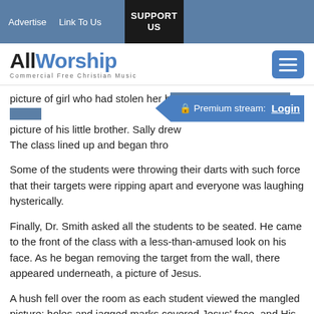Advertise   Link To Us   SUPPORT US
[Figure (logo): AllWorship logo with text 'Commercial Free Christian Music' and a hamburger menu button]
picture of girl who had stolen her b... picture of his little brother. Sally drew... The class lined up and began thro...
Some of the students were throwing their darts with such force that their targets were ripping apart and everyone was laughing hysterically.
Finally, Dr. Smith asked all the students to be seated. He came to the front of the class with a less-than-amused look on his face. As he began removing the target from the wall, there appeared underneath, a picture of Jesus.
A hush fell over the room as each student viewed the mangled picture; holes and jagged marks covered Jesus' face, and His eyes were pierced.